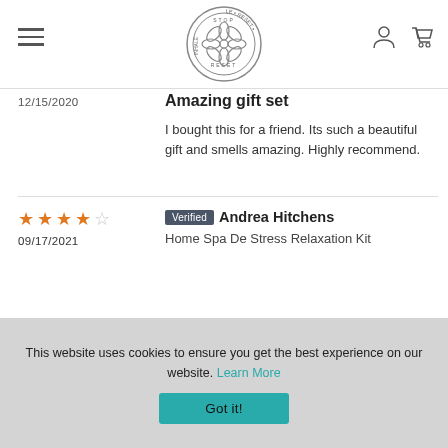Stop Inhale Reset - website header with logo, hamburger menu, user icon, and cart icon
12/15/2020
Amazing gift set
I bought this for a friend. Its such a beautiful gift and smells amazing. Highly recommend.
★★★★☆ 09/17/2021 Verified Andrea Hitchens Home Spa De Stress Relaxation Kit
Read More
This website uses cookies to ensure you get the best experience on our website. Learn More Got it!